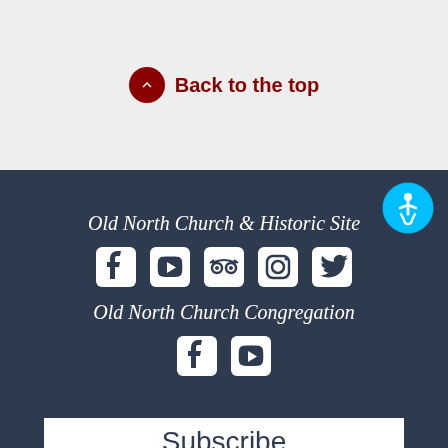Back to the top
Old North Church & Historic Site
[Figure (illustration): Social media icons row: Facebook, YouTube, TripAdvisor, Instagram, Twitter]
Old North Church Congregation
[Figure (illustration): Social media icons row: Facebook, YouTube]
Subscribe
[Figure (illustration): Accessibility icon (wheelchair symbol in blue circle) in top-right of footer]